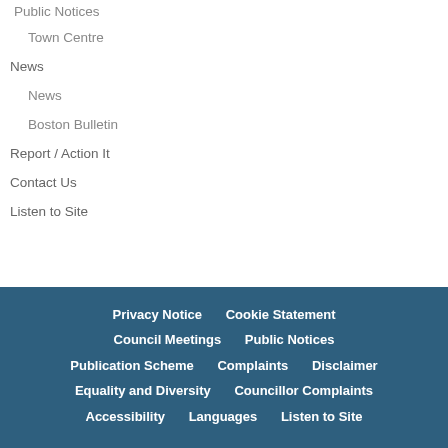Public Notices
Town Centre
News
News
Boston Bulletin
Report / Action It
Contact Us
Listen to Site
Privacy Notice  Cookie Statement  Council Meetings  Public Notices  Publication Scheme  Complaints  Disclaimer  Equality and Diversity  Councillor Complaints  Accessibility  Languages  Listen to Site